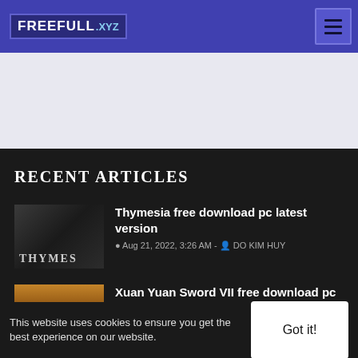FREEFULL.XYZ
[Figure (other): Advertisement / banner placeholder area with light gray background]
RECENT ARTICLES
[Figure (photo): Thymesia game thumbnail - dark atmospheric image with the text THYMES (partially visible)]
Thymesia free download pc latest version
Aug 21, 2022, 3:26 AM - DO KIM HUY
[Figure (photo): Xuan Yuan Sword VII game thumbnail - orange/sunset atmospheric landscape]
Xuan Yuan Sword VII free download pc latest version
Aug 20, 2022, 3:21 PM - ...
This website uses cookies to ensure you get the best experience on our website.